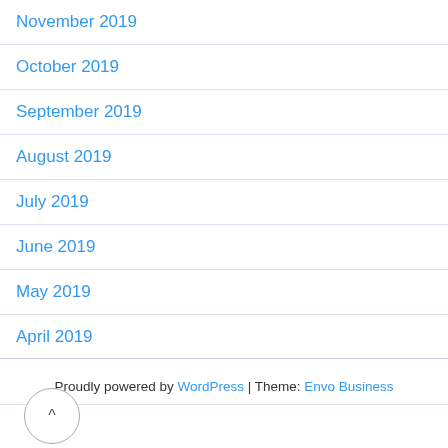November 2019
October 2019
September 2019
August 2019
July 2019
June 2019
May 2019
April 2019
March 2019
Proudly powered by WordPress | Theme: Envo Business